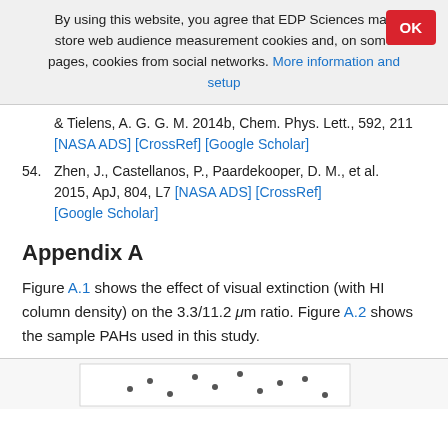By using this website, you agree that EDP Sciences may store web audience measurement cookies and, on some pages, cookies from social networks. More information and setup
& Tielens, A. G. G. M. 2014b, Chem. Phys. Lett., 592, 211 [NASA ADS] [CrossRef] [Google Scholar]
54. Zhen, J., Castellanos, P., Paardekooper, D. M., et al. 2015, ApJ, 804, L7 [NASA ADS] [CrossRef] [Google Scholar]
Appendix A
Figure A.1 shows the effect of visual extinction (with HI column density) on the 3.3/11.2 μm ratio. Figure A.2 shows the sample PAHs used in this study.
[Figure (other): Bottom strip showing partial figure with scatter plot dots, beginning of Figure A.1 or A.2]